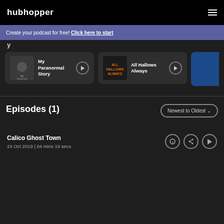hubhopper
Create your podcast for free! Click here to start
y
[Figure (screenshot): My Paranormal Story podcast card with play button]
[Figure (screenshot): All Hallows Always podcast card with play button]
Episodes (1)
Newest to Oldest
Calico Ghost Town
24 Oct 2019 | 04 mins 19 secs